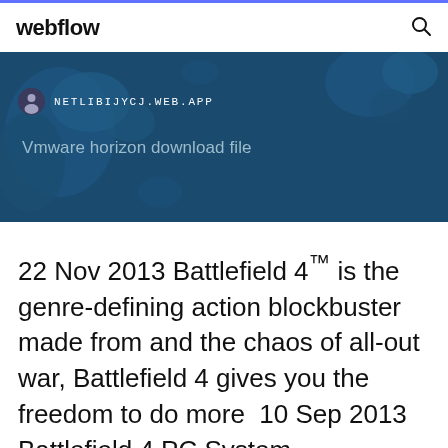webflow
[Figure (screenshot): Dark blue banner with world map background, showing URL NETLIBIJYCJ.WEB.APP with avatar icon and subtitle 'Vmware horizon download file']
22 Nov 2013 Battlefield 4™ is the genre-defining action blockbuster made from and the chaos of all-out war, Battlefield 4 gives you the freedom to do more  10 Sep 2013 Battlefield 4 PC System Requirements Detailed: 30 GB Install Size, 8 GB of RAM and Windows 8